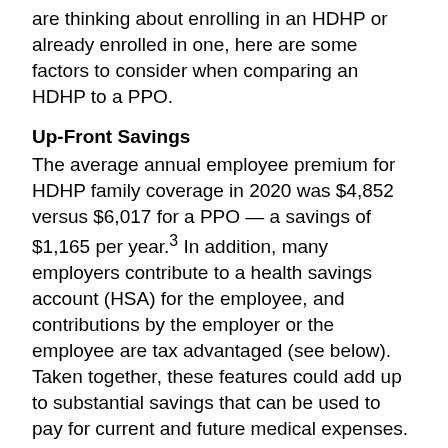are thinking about enrolling in an HDHP or already enrolled in one, here are some factors to consider when comparing an HDHP to a PPO.
Up-Front Savings
The average annual employee premium for HDHP family coverage in 2020 was $4,852 versus $6,017 for a PPO — a savings of $1,165 per year.³ In addition, many employers contribute to a health savings account (HSA) for the employee, and contributions by the employer or the employee are tax advantaged (see below). Taken together, these features could add up to substantial savings that can be used to pay for current and future medical expenses.
Pay As You Go
In return for lower premiums, you pay more out of pocket for medical services with an HDHP until you reach the annual deductible.
Deductible. An HDHP has a higher deductible than a